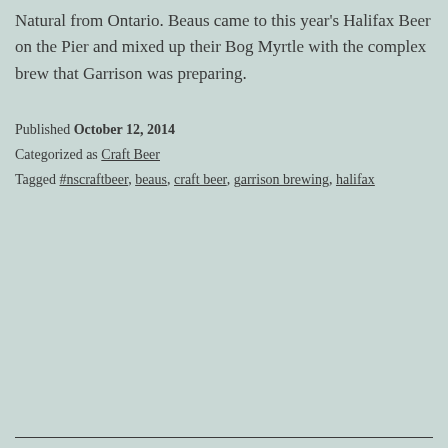Natural from Ontario. Beaus came to this year's Halifax Beer on the Pier and mixed up their Bog Myrtle with the complex brew that Garrison was preparing.
Published October 12, 2014
Categorized as Craft Beer
Tagged #nscraftbeer, beaus, craft beer, garrison brewing, halifax